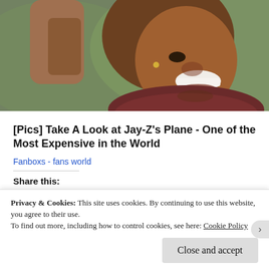[Figure (photo): Close-up photo of a smiling man holding a phone to his ear, wearing a dark maroon collar shirt]
[Pics] Take A Look at Jay-Z's Plane - One of the Most Expensive in the World
Fanboxs - fans world
Share this:
Twitter | Facebook | Pinterest | Tumblr | Print
Privacy & Cookies: This site uses cookies. By continuing to use this website, you agree to their use. To find out more, including how to control cookies, see here: Cookie Policy
Close and accept